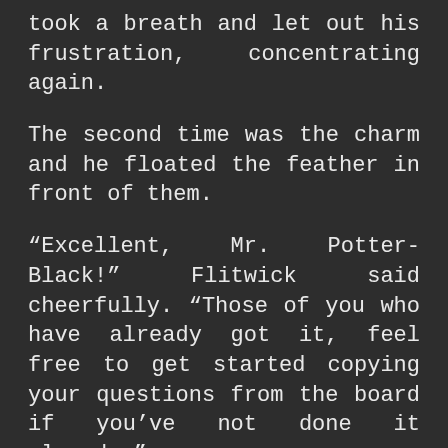took a breath and let out his frustration, concentrating again.
The second time was the charm and he floated the feather in front of them.
“Excellent, Mr. Potter-Black!” Flitwick said cheerfully. “Those of you who have already got it, feel free to get started copying your questions from the board if you’ve not done it already.”
Harry started a few minutes later when Ron and Hermione started arguing. They were a few people down so he didn’t know what it was about, but from the